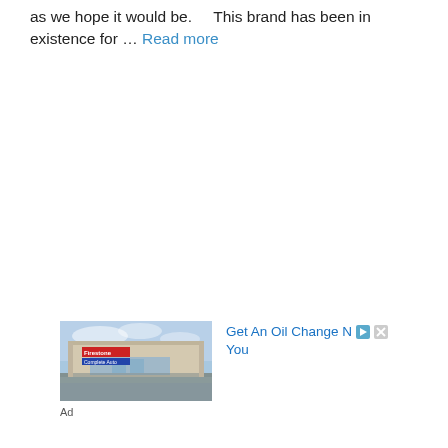as we hope it would be.    This brand has been in existence for ... Read more
[Figure (photo): Exterior photo of a Firestone auto service center building with signage, parking lot in foreground]
Get An Oil Change Near You
Ad